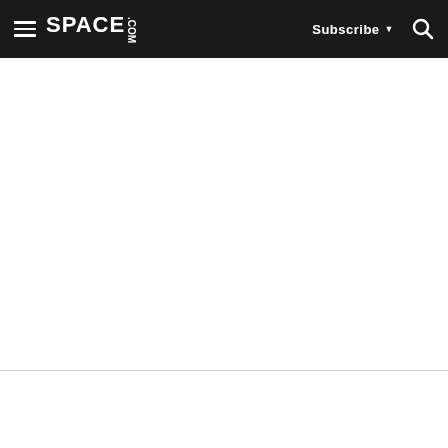SPACE.com — Subscribe | Search
SIGN UP FOR E-MAIL NEWSLETTERS